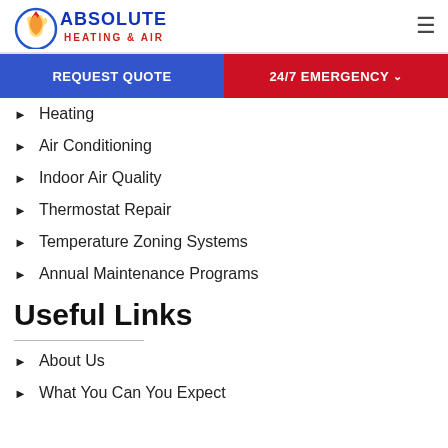Absolute Heating & Air
REQUEST QUOTE
24/7 EMERGENCY
Heating
Air Conditioning
Indoor Air Quality
Thermostat Repair
Temperature Zoning Systems
Annual Maintenance Programs
Useful Links
About Us
What You Can You Expect